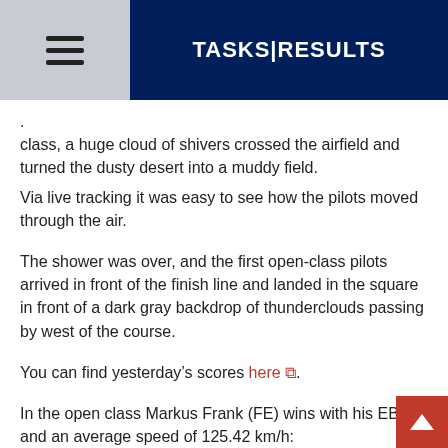TASKS|RESULTS
class, a huge cloud of shivers crossed the airfield and turned the dusty desert into a muddy field.
Via live tracking it was easy to see how the pilots moved through the air.
The shower was over, and the first open-class pilots arrived in front of the finish line and landed in the square in front of a dark gray backdrop of thunderclouds passing by west of the course.
You can find yesterday’s scores here.
In the open class Markus Frank (FE) wins with his EB29 and an average speed of 125.42 km/h: